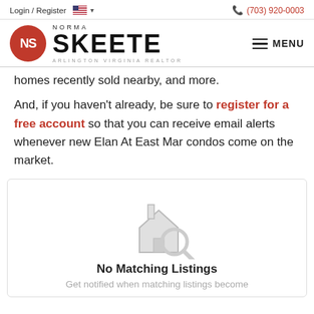Login / Register  🇺🇸 ▾   📞 (703) 920-0003
[Figure (logo): Norma Skeete Arlington Virginia Realtor logo with red NS circle and hamburger MENU button]
homes recently sold nearby, and more.
And, if you haven't already, be sure to register for a free account so that you can receive email alerts whenever new Elan At East Mar condos come on the market.
[Figure (illustration): House with magnifying glass icon in light gray, indicating no search results]
No Matching Listings
Get notified when matching listings become